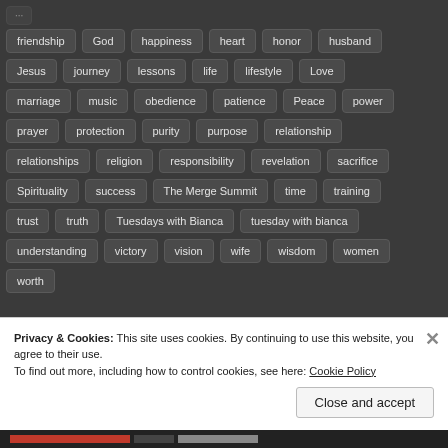friendship
God
happiness
heart
honor
husband
Jesus
journey
lessons
life
lifestyle
Love
marriage
music
obedience
patience
Peace
power
prayer
protection
purity
purpose
relationship
relationships
religion
responsibility
revelation
sacrifice
Spirituality
success
The Merge Summit
time
training
trust
truth
Tuesdays with Bianca
tuesday with bianca
understanding
victory
vision
wife
wisdom
women
worth
Privacy & Cookies: This site uses cookies. By continuing to use this website, you agree to their use.
To find out more, including how to control cookies, see here: Cookie Policy
Close and accept